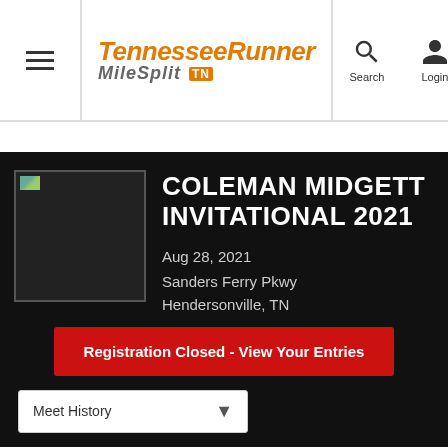TennesseeRunner MileSplit TN — Search | Login
Coleman Midgett Invitational 2021
Aug 28, 2021
Sanders Ferry Pkwy
Hendersonville, TN
Registration Closed - View Your Entries
Meet History